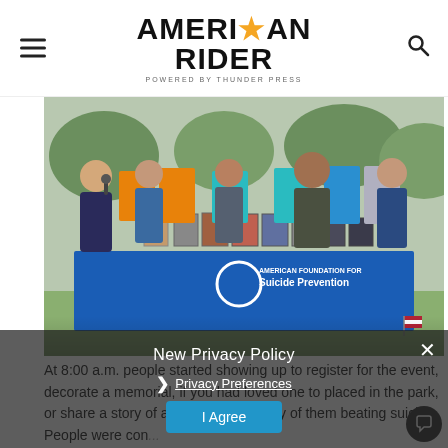American Rider (powered by Thunder Press)
[Figure (photo): Group of people standing behind a table draped with a blue 'American Foundation for Suicide Prevention' tablecloth, with framed photos of individuals on the table. A woman speaks into a microphone on the left. People hold colorful signs in the background.]
New Privacy Policy
Privacy Preferences
I Agree
At 8:00 a.m. people started showing up to register for the event, decorate a memorial, if you had loved one to placed in the park, or share a story of a lost love or a story of them beating suicide. People were con...